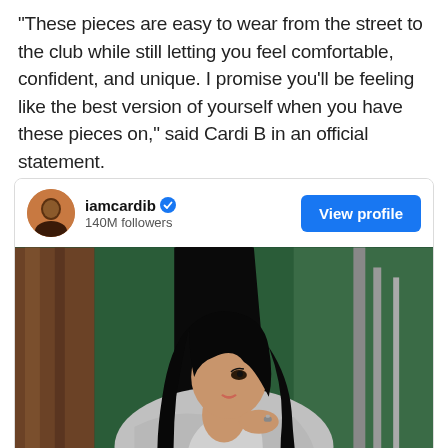“These pieces are easy to wear from the street to the club while still letting you feel comfortable, confident, and unique. I promise you’ll be feeling like the best version of yourself when you have these pieces on,” said Cardi B in an official statement.
[Figure (screenshot): Instagram profile card for iamcardib with 140M followers, a View profile button, and a photo of Cardi B with long straight black hair wearing a silver metallic outfit, against a dark green background.]